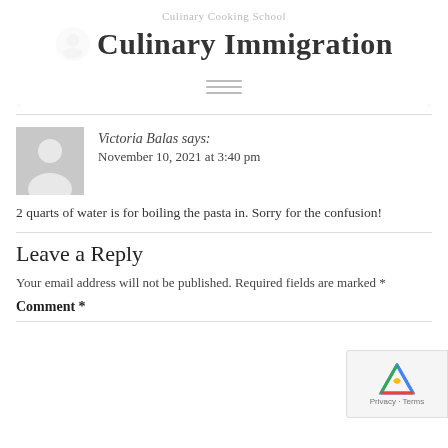Culinary Cooking School
Culinary Immigration
Victoria Balas says: November 10, 2021 at 3:40 pm
2 quarts of water is for boiling the pasta in. Sorry for the confusion!
Leave a Reply
Your email address will not be published. Required fields are marked *
Comment *